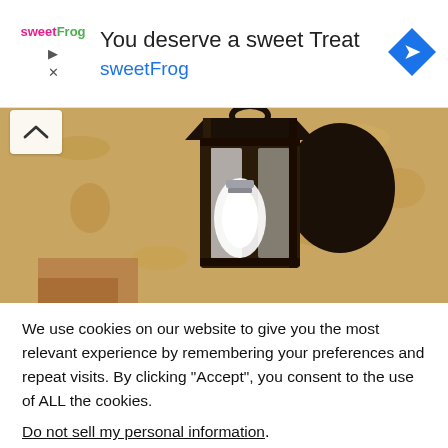[Figure (screenshot): Advertisement banner for sweetFrog frozen yogurt with logo, title 'You deserve a sweet Treat', subtitle 'sweetFrog', and a blue diamond navigation icon on the right.]
[Figure (photo): Close-up photograph of a vintage dark metal wall lantern light fixture with a glowing white bulb, mounted on a textured beige/tan stucco wall.]
We use cookies on our website to give you the most relevant experience by remembering your preferences and repeat visits. By clicking “Accept”, you consent to the use of ALL the cookies.
Do not sell my personal information.
Cookie Settings
Accept